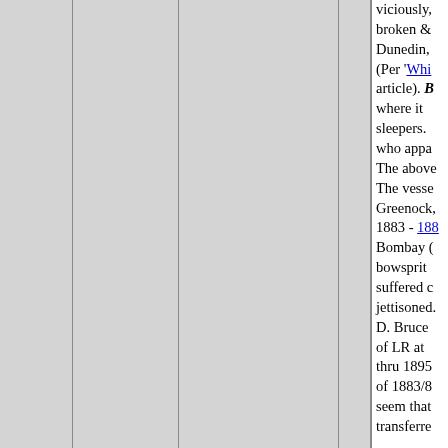viciously, broken & Dunedin, (Per 'Whi article). B where it sleepers. who appa The above The vesse Greenock, 1883 - 188 Bombay ( bowsprit suffered c jettisoned. D. Bruce of LR at thru 1895 of 1883/8 seem that transferred